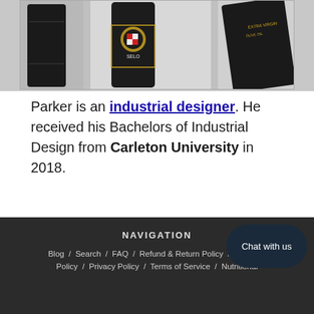[Figure (photo): Photo of dark olive oil bottles with labels including a SELO branded bottle with a gold crest emblem on a grey background]
Parker is an industrial designer. He received his Bachelors of Industrial Design from Carleton University in 2018.
NAVIGATION  Blog / Search / FAQ / Refund & Return Policy / Shipping Policy / Privacy Policy / Terms of Service / Nutritional